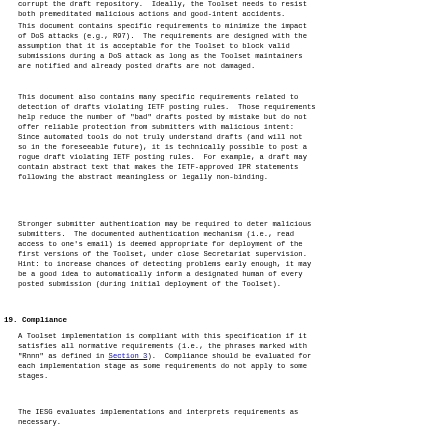corrupt the draft repository.  Ideally, the Toolset needs to resist both premeditated malicious actions and good-intent accidents.
This document contains specific requirements to minimize the impact of DoS attacks (e.g., R97).  The requirements are designed with the assumption that it is acceptable for the Toolset to block valid submissions during a DoS attack as long as the Toolset maintainers are notified and already posted drafts are not damaged.
This document also contains many specific requirements related to detection of drafts violating IETF posting rules.  Those requirements help reduce the number of "bad" drafts posted by mistake but do not offer reliable protection from submitters with malicious intent: Since automated tools do not truly understand drafts (and will not so in the foreseeable future), it is technically possible to post a rogue draft violating IETF posting rules.  For example, a draft may contain abstract text that makes the IETF-approved IPR statements following the abstract meaningless or legally non-binding.
Stronger submitter authentication may be required to deter malicious submitters.  The documented authentication mechanism (i.e., read access to one's email) is deemed appropriate for deployment of the first versions of the Toolset, under close Secretariat supervision. Hint: to increase chances of detecting problems early enough, it may be a good idea to automatically inform a designated human of every posted submission (during initial deployment of the Toolset).
19.   Compliance
A Toolset implementation is compliant with this specification if it satisfies all normative requirements (i.e., the phrases marked with "Rnnn" as defined in Section 3).  Compliance should be evaluated for each implementation stage as some requirements do not apply to some stages.
The IESG evaluates implementations and interprets requirements as necessary.